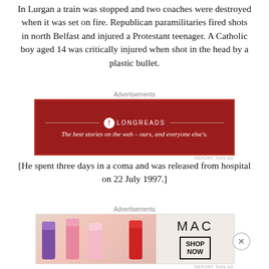In Lurgan a train was stopped and two coaches were destroyed when it was set on fire. Republican paramilitaries fired shots in north Belfast and injured a Protestant teenager. A Catholic boy aged 14 was critically injured when shot in the head by a plastic bullet.
[Figure (screenshot): Longreads advertisement banner with dark red background. Shows Longreads logo and tagline: 'The best stories on the web – ours, and everyone else's.']
[He spent three days in a coma and was released from hospital on 22 July 1997.]
Later Ronnie Flanagan, then Chief Constable of the Royal Ulster Constabulary (RUC), said that he had decided to force the march through the Garvaghy Road because of
[Figure (screenshot): MAC Cosmetics advertisement showing lipsticks and Shop Now button.]